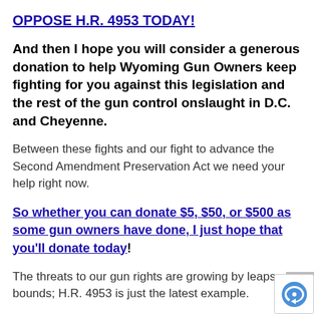OPPOSE H.R. 4953 TODAY!
And then I hope you will consider a generous donation to help Wyoming Gun Owners keep fighting for you against this legislation and the rest of the gun control onslaught in D.C. and Cheyenne.
Between these fights and our fight to advance the Second Amendment Preservation Act we need your help right now.
So whether you can donate $5, $50, or $500 as some gun owners have done, I just hope that you'll donate today!
The threats to our gun rights are growing by leaps and bounds; H.R. 4953 is just the latest example.